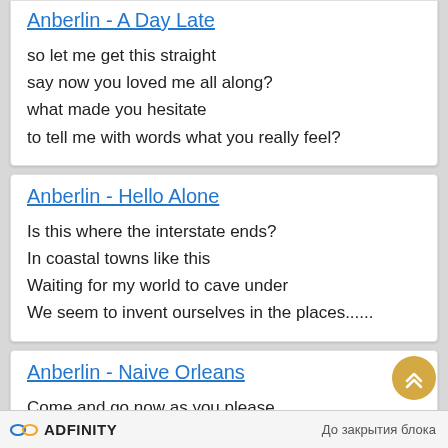Anberlin - A Day Late
so let me get this straight
say now you loved me all along?
what made you hesitate
to tell me with words what you really feel?
Anberlin - Hello Alone
Is this where the interstate ends?
In coastal towns like this
Waiting for my world to cave under
We seem to invent ourselves in the places......
Anberlin - Naive Orleans
Come and go now as you please
Your actions write the melodies
To the songs that we sing
And you just sing
ADFINITY  До закрытия блока